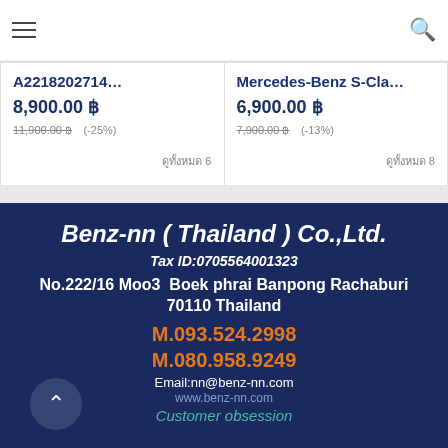Navigation bar with hamburger menu and search icon
A2218202714...  8,900.00 ฿  11,900.00 ฿ (-25%)  ดูทั้งหมด 6
Mercedes-Benz S-Cla...  6,900.00 ฿  7,900.00 ฿ (-13%)  ดูทั้งหมด 8
Benz-nn ( Thailand ) Co.,Ltd.
Tax ID:0705564001323
No.222/16 Moo3  Boek phrai Banpong Rachaburi 70110 Thailand
M.093.524.2998
M.080.958.9249
Email:nn@benz-nn.com
www.benz-nn.com
Customer obsession